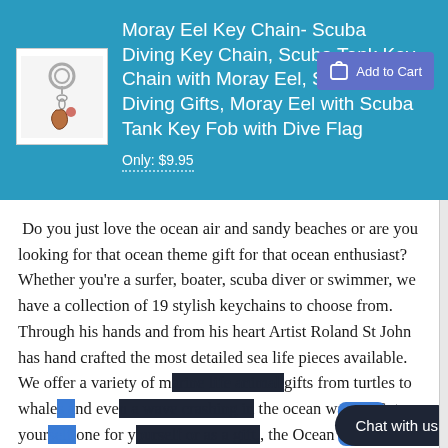Moray Eel Key Chain- Scuba Diving Key Chain, Scuba Tank Key Chain with Moray Eel, Scuba Diving Gifts, Moray Eel with Scuba Tank Key Fob with Dive Flag
Only: $9.95
[Figure (photo): Product image of moray eel keychain with metal ring on white background]
Do you just love the ocean air and sandy beaches or are you looking for that ocean theme gift for that ocean enthusiast? Whether you're a surfer, boater, scuba diver or swimmer, we have a collection of 19 stylish keychains to choose from. Through his hands and from his heart Artist Roland St John has hand crafted the most detailed sea life pieces available. We offer a variety of marine life animal gifts from turtles to whales and even a wave crashing in the ocean waves. Get your loved one for yourself or as a gift, the Ocean is calling